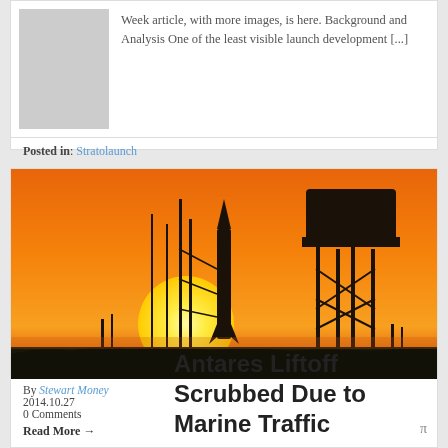Week article, with more images, is here. Background and Analysis One of the least visible launch development [...]
Posted in: Stratolaunch
[Figure (photo): Silhouette of a rocket on launch pad with a water tower against a vivid orange sunset sky, with a large yellow sun visible near the horizon.]
By Stewart Money
2014.10.27
0 Comments
Read More →
Antares Liftoff Scrubbed Due to Marine Traffic